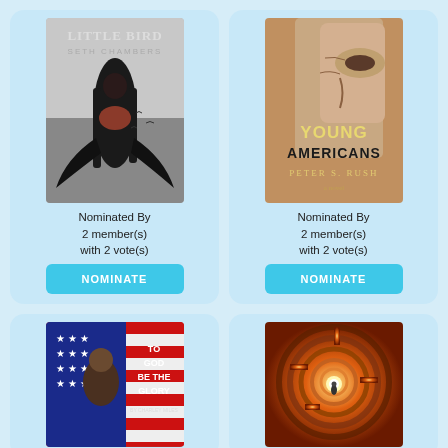[Figure (illustration): Book cover: Little Bird by Seth Chambers - woman with dark hair and wing-like extensions standing with back turned against grey background with birds]
Nominated By
2 member(s)
with 2 vote(s)
NOMINATE
[Figure (illustration): Book cover: Young Americans by Peter S. Rush - close-up of elderly face in mirror with yellow/gold title text]
Nominated By
2 member(s)
with 2 vote(s)
NOMINATE
[Figure (illustration): Book cover: To God Be The Glory by Charley Miles - man sitting in front of American flag]
[Figure (illustration): Book cover: maze with glowing figure at center, orange/red tones]